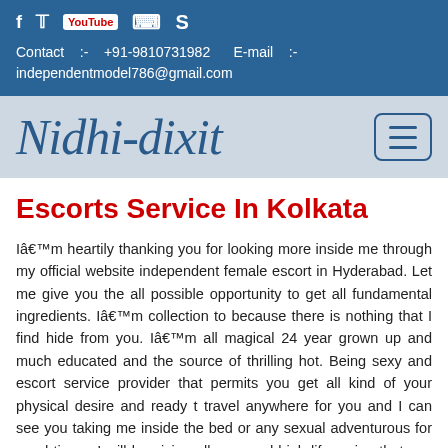Contact :- +91-9810731982 E-mail :- independentmodel786@gmail.com
Nidhi-dixit
Escorts Service In Kolkata
Iâ€™m heartily thanking you for looking more inside me through my official website independent female escort in Hyderabad. Let me give you the all possible opportunity to get all fundamental ingredients. Iâ€™m collection to because there is nothing that I find hide from you. Iâ€™m all magical 24 year grown up and much educated and the source of thrilling hot. Being sexy and escort service provider that permits you get all kind of your physical desire and ready t travel anywhere for you and I can see you taking me inside the bed or any sexual adventurous for good times. I will be giving all care and high life recipe that you need to get from blonde where you find more free time and frame our time, more revisiting